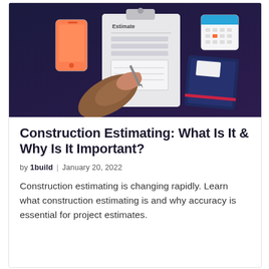[Figure (illustration): Illustration of a hand holding a pen writing on a clipboard with an 'Estimate' form, surrounded by a smartphone, a calendar/grid icon, and a dark blue notebook, all on a dark navy/purple background.]
Construction Estimating: What Is It & Why Is It Important?
by 1build | January 20, 2022
Construction estimating is changing rapidly. Learn what construction estimating is and why accuracy is essential for project estimates.